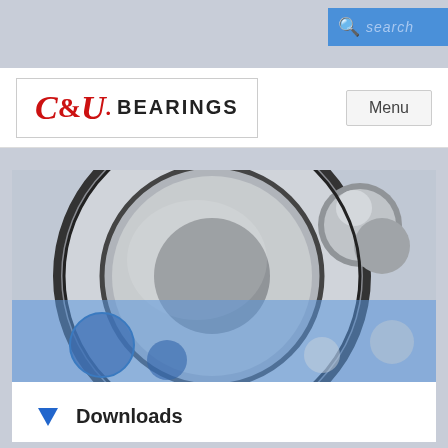[Figure (screenshot): Search button with magnifying glass icon in blue background, top right corner of page header]
[Figure (logo): C&U Bearings logo — red italic serif C&U. followed by bold black BEARINGS text, in a bordered box]
[Figure (photo): Close-up photograph of ball bearings — silver/grey bearing rings and steel balls, with blue semi-transparent overlay band across the lower portion]
Downloads